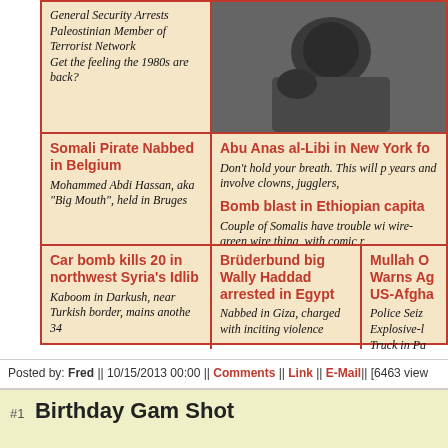General Security Arrests Paleostinian Member of Terrorist Network
Get the feeling the 1980s are back?
[Figure (photo): Black and white photo of a person lying down, appears to be a news image]
Somali Pirate Nabbed in Belgium
Mohammed Abdi Hassan, aka "Big Mouth", held in Bruges
Abu Anas al-Libi in New York fo
Don't hold your breath. This will p years and involve clowns, jugglers,
Bomb blast in Ethiopian capita
Couple of Somalis have trouble wi wire-green wire thing, with comic r
Car bomb kills 20 in northwest Syria's Idlib
Kaboom in Darkush, near Turkish border, mains anothe 34
Brüderbund big Wally Haddad arrested in Egypt
Nabbed in Giza, charged with inciting violence
Mullah O Warns Ag US-Afgha
Police Seiz Explosive-l Truck in Pa
Posted by: Fred || 10/15/2013 00:00 || Comments || Link || E-Mail|| [6463 view
#1  Birthday Gam Shot